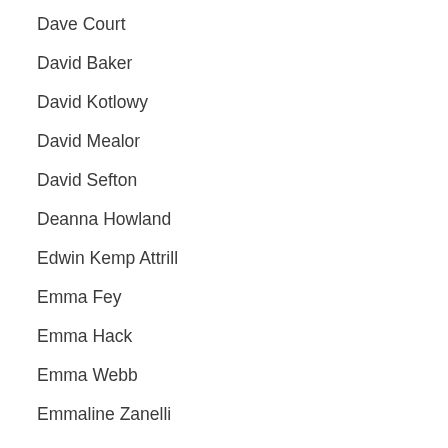Dave Court
David Baker
David Kotlowy
David Mealor
David Sefton
Deanna Howland
Edwin Kemp Attrill
Emma Fey
Emma Hack
Emma Webb
Emmaline Zanelli